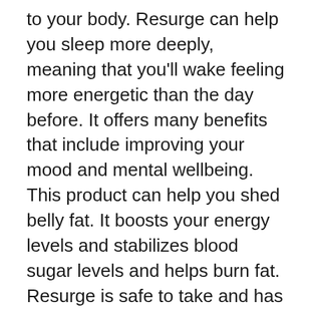to your body. Resurge can help you sleep more deeply, meaning that you'll wake feeling more energetic than the day before. It offers many benefits that include improving your mood and mental wellbeing. This product can help you shed belly fat. It boosts your energy levels and stabilizes blood sugar levels and helps burn fat. Resurge is safe to take and has no adverse effects.
Resurge is an all-natural sleep aid that has 8 ingredients. It improves the quality of sleep and helps you fall asleep faster. It also helps decrease anxiety and stress. It enhances sleep and prevents ammonia being produced during sleep. It also decreases the production hormones that cause aging while